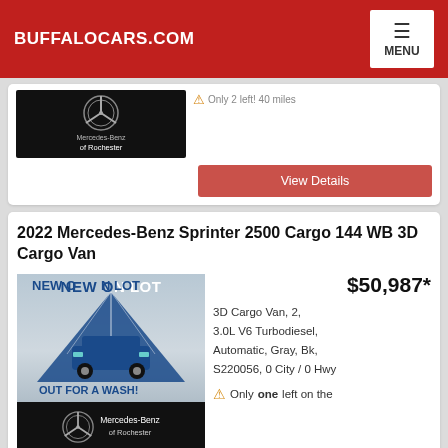BUFFALOCARS.COM
[Figure (logo): Mercedes-Benz of Rochester dealer logo on black background (partial card top)]
Only 2 left! 40 miles
View Details
2022 Mercedes-Benz Sprinter 2500 Cargo 144 WB 3D Cargo Van
[Figure (photo): New On Lot - Out For A Wash promotional image with blue car graphic]
[Figure (logo): Mercedes-Benz of Rochester dealer logo on black background]
$50,987*
3D Cargo Van, 2, 3.0L V6 Turbodiesel, Automatic, Gray, Bk, S220056, 0 City / 0 Hwy
Only one left on the